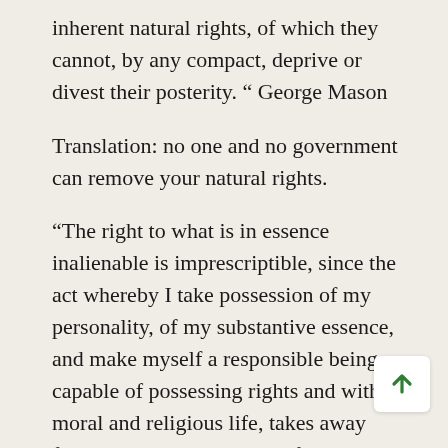inherent natural rights, of which they cannot, by any compact, deprive or divest their posterity. " George Mason
Translation: no one and no government can remove your natural rights.
“The right to what is in essence inalienable is imprescriptible, since the act whereby I take possession of my personality, of my substantive essence, and make myself a responsible being, capable of possessing rights and with a moral and religious life, takes away from these characteristics of mine just that externality which alone made them capable of passing into the possession of someone else. When I have thus annulled their externality, cannot lose them through lapse of time or from any other reason drawn from my prior consent or